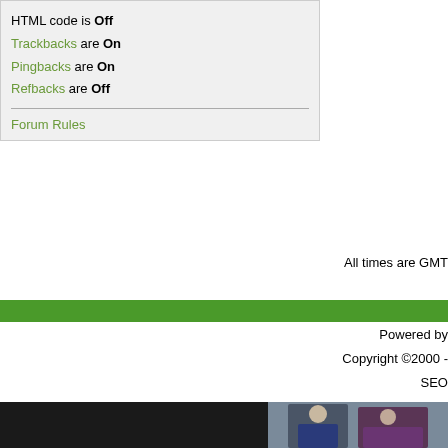HTML code is Off
Trackbacks are On
Pingbacks are On
Refbacks are Off
Forum Rules
All times are GMT
Powered by
Copyright ©2000 -
SEO
Keith and The GirlAd
Contact
Advertising
Donate
Free Things
HUAR
[Figure (photo): Two people standing, man in blue t-shirt and woman partially visible]